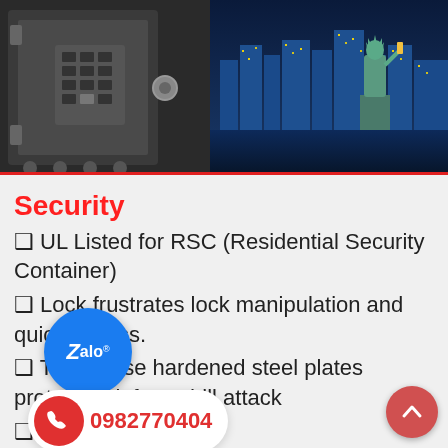[Figure (photo): Hero image showing an open safe/vault with keypad on the left, and the Statue of Liberty with a city skyline at night on the right.]
Security
❑ UL Listed for RSC (Residential Security Container)
❑ Lock frustrates lock manipulation and quick access.
❑ Triple case hardened steel plates protect lock from drill attack
❑ Thicker steel body
❑ secure the door against pounding or drilling
❑ Defensive barrier of 1.25" diameter